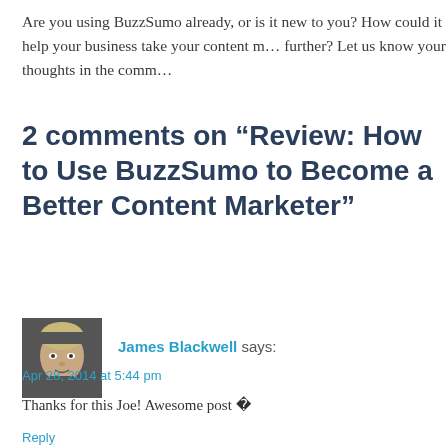Are you using BuzzSumo already, or is it new to you? How could it help your business take your content marketing further? Let us know your thoughts in the comm
2 comments on “Review: How to Use BuzzSumo to Become a Better Content Marketer”
[Figure (photo): Profile photo of James Blackwell, a young man with light hair against a dark background]
James Blackwell says:
Apr 28, 2014 at 5:44 pm
Thanks for this Joe! Awesome post �
Reply